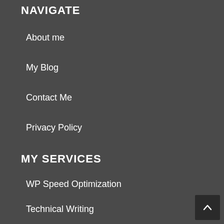NAVIGATE
About me
My Blog
Contact Me
Privacy Policy
MY SERVICES
WP Speed Optimization
Technical Writing